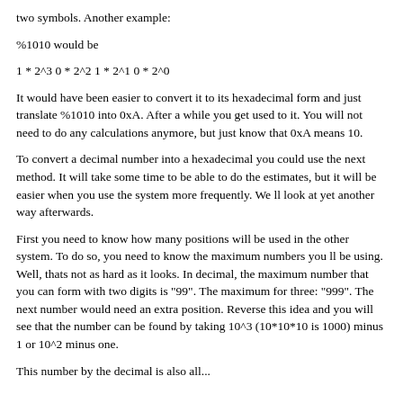two symbols. Another example:
%1010 would be
It would have been easier to convert it to its hexadecimal form and just translate %1010 into 0xA. After a while you get used to it. You will not need to do any calculations anymore, but just know that 0xA means 10.
To convert a decimal number into a hexadecimal you could use the next method. It will take some time to be able to do the estimates, but it will be easier when you use the system more frequently. We ll look at yet another way afterwards.
First you need to know how many positions will be used in the other system. To do so, you need to know the maximum numbers you ll be using. Well, thats not as hard as it looks. In decimal, the maximum number that you can form with two digits is "99". The maximum for three: "999". The next number would need an extra position. Reverse this idea and you will see that the number can be found by taking 10^3 (10*10*10 is 1000) minus 1 or 10^2 minus one.
This number by the decimal is also all...